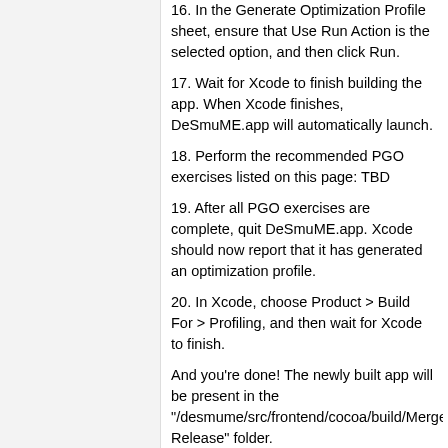16. In the Generate Optimization Profile sheet, ensure that Use Run Action is the selected option, and then click Run.
17. Wait for Xcode to finish building the app. When Xcode finishes, DeSmuME.app will automatically launch.
18. Perform the recommended PGO exercises listed on this page: TBD
19. After all PGO exercises are complete, quit DeSmuME.app. Xcode should now report that it has generated an optimization profile.
20. In Xcode, choose Product > Build For > Profiling, and then wait for Xcode to finish.
And you're done! The newly built app will be present in the "/desmume/src/frontend/cocoa/build/Merged Release" folder.
OpenEmu Plug-in Build
The DeSmuME OpenEmu plug-in is used as